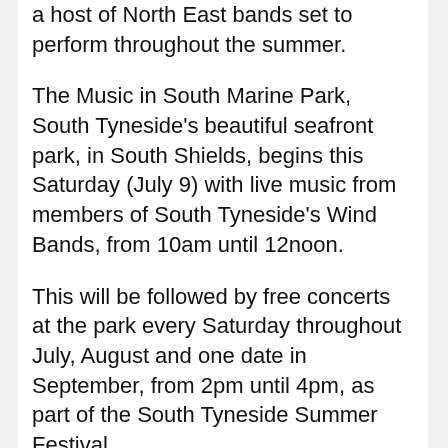a host of North East bands set to perform throughout the summer.
The Music in South Marine Park, South Tyneside's beautiful seafront park, in South Shields, begins this Saturday (July 9) with live music from members of South Tyneside's Wind Bands, from 10am until 12noon.
This will be followed by free concerts at the park every Saturday throughout July, August and one date in September, from 2pm until 4pm, as part of the South Tyneside Summer Festival.
The programme of music, featuring live performances from bands across the region,